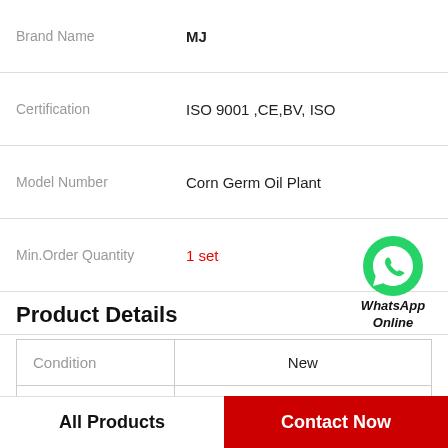| Field | Value |
| --- | --- |
| Brand Name | MJ |
| Certification | ISO 9001 ,CE,BV, ISO |
| Model Number | Corn Germ Oil Plant |
| Min.Order Quantity | 1 set |
Product Details
| Condition | Usage | Type | Automatic Grade |
| --- | --- | --- | --- |
| Condition | New |
| Usage | Soybean Oil |
| Type | Soybean Oil machine |
| Automatic Grade | Automatic |
[Figure (logo): WhatsApp Online badge with green phone icon]
All Products    Contact Now